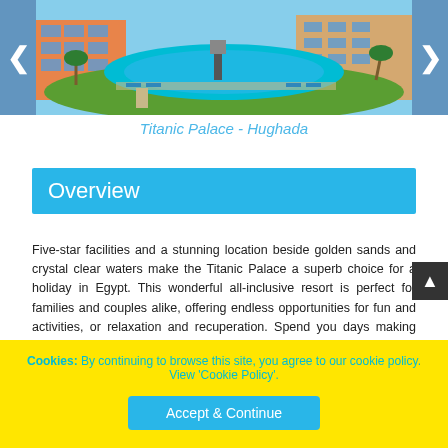[Figure (photo): Aerial/elevated view of Titanic Palace hotel resort in Hurghada, Egypt, showing colorful orange/terracotta buildings, large lagoon-style swimming pool with blue water, sun loungers, and palm trees]
Titanic Palace - Hughada
Overview
Five-star facilities and a stunning location beside golden sands and crystal clear waters make the Titanic Palace a superb choice for a holiday in Egypt. This wonderful all-inclusive resort is perfect for families and couples alike, offering endless opportunities for fun and activities, or relaxation and recuperation. Spend you days making waves in the aqua park, unwind in comfortable rooms and feast on delicious cuisine, all
Cookies: By continuing to browse this site, you agree to our cookie policy. View 'Cookie Policy'.
Accept & Continue